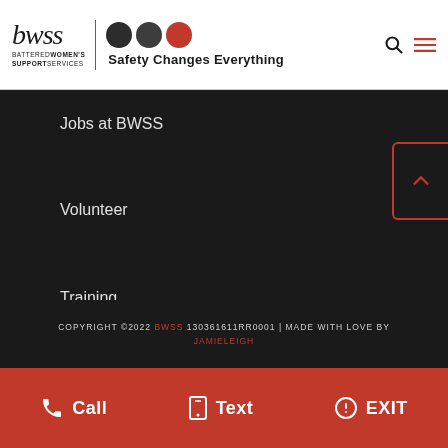[Figure (logo): BWSS Battered Women's Support Services logo with three circles (two dark, one red) and tagline 'Safety Changes Everything']
Jobs at BWSS
Volunteer
Training
COPYRIGHT ©2022 BWSS 130361611RR0001 | MADE WITH LOVE BY JAMIELEIGH
Call  Text  EXIT